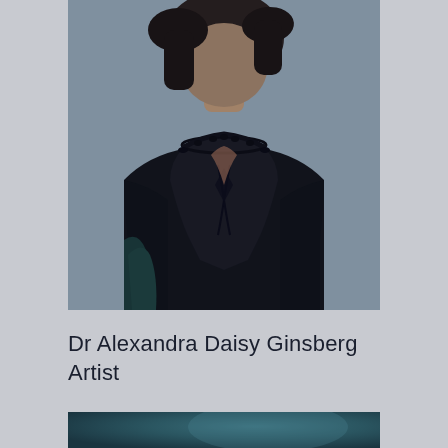[Figure (photo): Portrait photo of a woman wearing a black dress with elaborate beaded/lace neckline and collar detail, against a light blue-grey background. The photo is cropped at approximately torso level.]
Dr Alexandra Daisy Ginsberg
Artist
[Figure (photo): Partial view of a second image at the bottom of the page, showing a teal/dark blue-green blurred or abstract background, only the top portion is visible.]